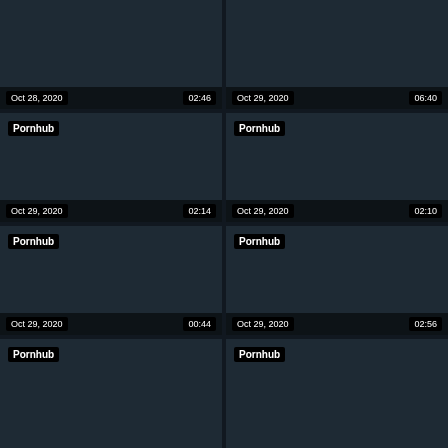[Figure (screenshot): Video thumbnail 1 - dark background, date Oct 28 2020, duration 02:46]
[Figure (screenshot): Video thumbnail 2 - dark background, date Oct 29 2020, duration 06:40]
[Figure (screenshot): Video thumbnail 3 - dark background, Pornhub badge, date Oct 29 2020, duration 02:14]
[Figure (screenshot): Video thumbnail 4 - dark background, Pornhub badge, date Oct 29 2020, duration 02:10]
[Figure (screenshot): Video thumbnail 5 - dark background, Pornhub badge, date Oct 29 2020, duration 00:44]
[Figure (screenshot): Video thumbnail 6 - dark background, Pornhub badge, date Oct 29 2020, duration 02:56]
[Figure (screenshot): Video thumbnail 7 - dark background, Pornhub badge, partial]
[Figure (screenshot): Video thumbnail 8 - dark background, Pornhub badge, partial]